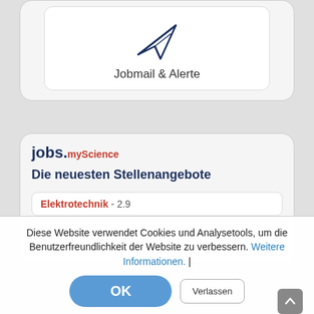[Figure (illustration): Paper plane / send icon in dark navy blue outline style]
Jobmail & Alerte
jobs.myScience
Die neuesten Stellenangebote
Elektrotechnik - 2.9
Päda... Doktorand*in
Diese Website verwendet Cookies und Analysetools, um die Benutzerfreundlichkeit der Website zu verbessern. Weitere Informationen. |
OK
Verlassen